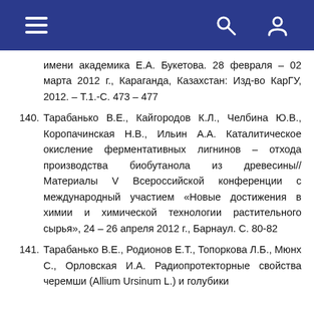Navigation header bar with hamburger menu, search and user icons
имени академика Е.А. Букетова. 28 февраля – 02 марта 2012 г., Караганда, Казахстан: Изд-во КарГУ, 2012. – Т.1.-С. 473 – 477
140. Тарабанько В.Е., Кайгородов К.Л., Челбина Ю.В., Коропачинская Н.В., Ильин А.А. Каталитическое окисление ферментативных лигнинов – отхода производства биобутанола из древесины// Материалы V Всероссийской конференции с международный участием «Новые достижения в химии и химической технологии растительного сырья», 24 – 26 апреля 2012 г., Барнаул. С. 80-82
141. Тарабанько В.Е., Родионов Е.Т., Топоркова Л.Б., Мюнх С., Орловская И.А. Радиопротекторные свойства черемши (Allium Ursinum L.) и голубики